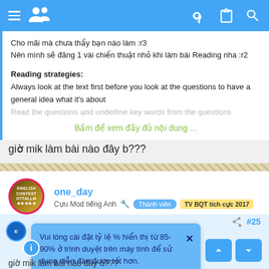Navigation bar with menu, logo, key, clipboard, search icons
Cho mãi mà chưa thấy bạn nào làm :r3
Nên mình sẽ đăng 1 vài chiến thuật nhỏ khi làm bài Reading nha :r2
Reading strategies:
Always look at the text first before you look at the questions to have a general idea what it's about
Read the questions and underline key words from the questions
Bấm để xem đầy đủ nội dung ...
giờ mik làm bài nào đây b???
one_day
Cựu Mod tiếng Anh  Thành viên  TV BQT tích cực 2017
Vui lòng cài đặt tỷ lệ % hiển thị từ 85-90% ở trình duyệt trên máy tính để sử dụng diễn đàn được tốt hơn.
#25
giờ mik làm bài nào đây b???